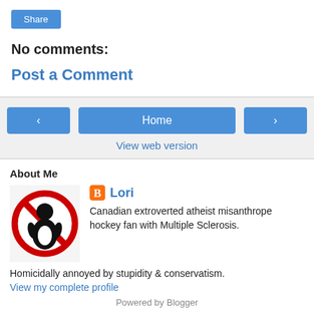Share
No comments:
Post a Comment
‹
Home
›
View web version
About Me
[Figure (illustration): Profile image: circular red no-symbol over a person/penguin figure on white background]
Lori
Canadian extroverted atheist misanthrope hockey fan with Multiple Sclerosis.
Homicidally annoyed by stupidity & conservatism.
View my complete profile